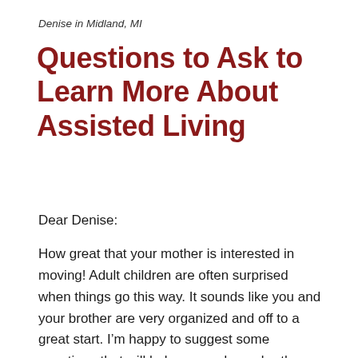Denise in Midland, MI
Questions to Ask to Learn More About Assisted Living
Dear Denise:
How great that your mother is interested in moving! Adult children are often surprised when things go this way. It sounds like you and your brother are very organized and off to a great start. I’m happy to suggest some questions that will help you and your brother make an informed choice.